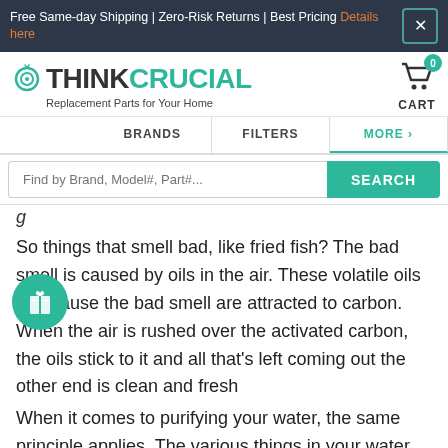Free Same-day Shipping | Zero-Risk Returns | Best Pricing Details here
[Figure (logo): ThinkCrucial logo with snail icon and tagline 'Replacement Parts for Your Home']
BRANDS | FILTERS | MORE >
Find by Brand, Model#, Part#... SEARCH
So things that smell bad, like fried fish? The bad smell is caused by oils in the air. These volatile oils that cause the bad smell are attracted to carbon. When the air is rushed over the activated carbon, the oils stick to it and all that's left coming out the other end is clean and fresh
When it comes to purifying your water, the same principle applies. The various things in your water that leave behind a bad aftertaste are trapped onto the